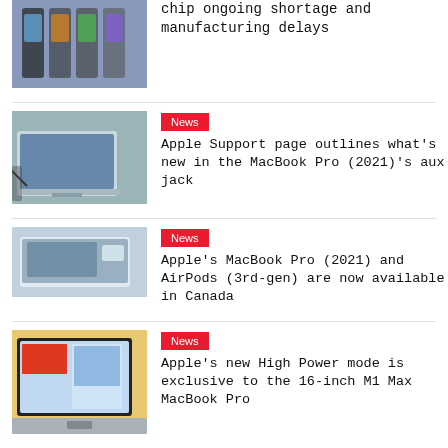[Figure (photo): Multiple iPhones displayed side by side]
chip ongoing shortage and manufacturing delays
[Figure (photo): MacBook Pro open with cables connected]
News
Apple Support page outlines what's new in the MacBook Pro (2021)'s aux jack
[Figure (photo): MacBook device partially visible]
News
Apple's MacBook Pro (2021) and AirPods (3rd-gen) are now available in Canada
[Figure (photo): Laptop showing Windows 11 interface]
News
Apple's new High Power mode is exclusive to the 16-inch M1 Max MacBook Pro
[Figure (photo): MacBook Pro 2021 screen visible]
Reviews
MacBook Pro (2021) Review: Apple